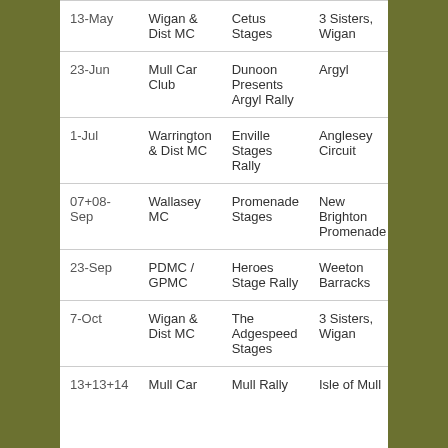| 13-May | Wigan & Dist MC | Cetus Stages | 3 Sisters, Wigan |
| 23-Jun | Mull Car Club | Dunoon Presents Argyl Rally | Argyl |
| 1-Jul | Warrington & Dist MC | Enville Stages Rally | Anglesey Circuit |
| 07+08-Sep | Wallasey MC | Promenade Stages | New Brighton Promenade |
| 23-Sep | PDMC / GPMC | Heroes Stage Rally | Weeton Barracks |
| 7-Oct | Wigan & Dist MC | The Adgespeed Stages | 3 Sisters, Wigan |
| 13+13+14 | Mull Car | Mull Rally | Isle of Mull |